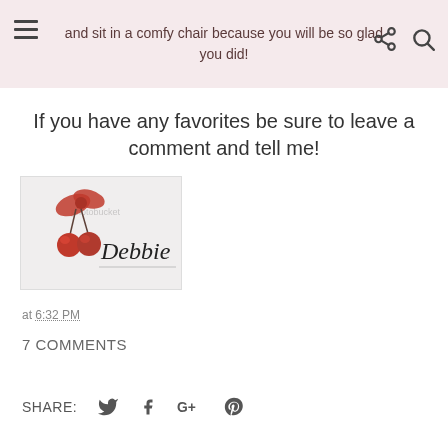and sit in a comfy chair because you will be so glad you did!
If you have any favorites be sure to leave a comment and tell me!
[Figure (illustration): A signature image showing cherries with a red gingham bow and cursive text reading 'Debbie', with a watermark 'photobucket']
at 6:32 PM
7 COMMENTS
SHARE: